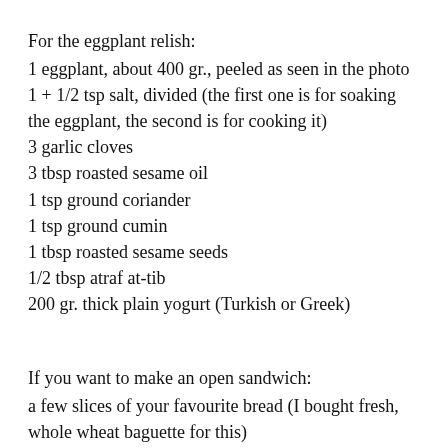For the eggplant relish:
1 eggplant, about 400 gr., peeled as seen in the photo
1 + 1/2 tsp salt, divided (the first one is for soaking the eggplant, the second is for cooking it)
3 garlic cloves
3 tbsp roasted sesame oil
1 tsp ground coriander
1 tsp ground cumin
1 tbsp roasted sesame seeds
1/2 tbsp atraf at-tib
200 gr. thick plain yogurt (Turkish or Greek)
If you want to make an open sandwich:
a few slices of your favourite bread (I bought fresh, whole wheat baguette for this)